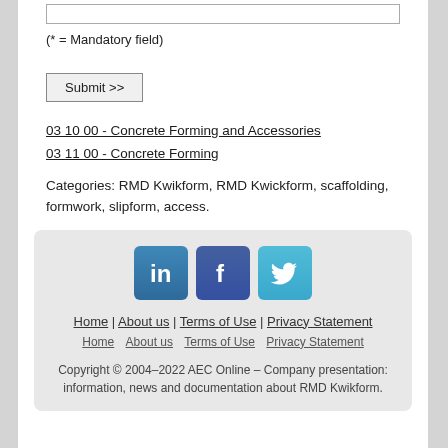(* = Mandatory field)
Submit >>
03 10 00 - Concrete Forming and Accessories
03 11 00 - Concrete Forming
Categories: RMD Kwikform, RMD Kwickform, scaffolding, formwork, slipform, access.
[Figure (infographic): Social media icons: LinkedIn (blue square with 'in'), Facebook (dark blue square with 'f'), Twitter (light blue square with bird icon)]
Home | About us | Terms of Use | Privacy Statement
Home   About us   Terms of Use   Privacy Statement
Copyright © 2004–2022 AEC Online – Company presentation: information, news and documentation about RMD Kwikform.